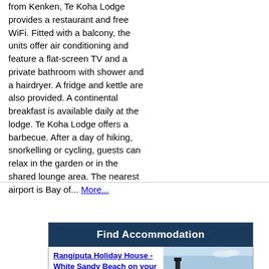from Kenken, Te Koha Lodge provides a restaurant and free WiFi. Fitted with a balcony, the units offer air conditioning and feature a flat-screen TV and a private bathroom with shower and a hairdryer. A fridge and kettle are also provided. A continental breakfast is available daily at the lodge. Te Koha Lodge offers a barbecue. After a day of hiking, snorkelling or cycling, guests can relax in the garden or in the shared lounge area. The nearest airport is Bay of... More...
[Figure (photo): Beach photo showing a sandy beach with blue sky and water, part of a Find Accommodation section]
Find Accommodation
Rangiputa Holiday House - White Sandy Beach on your